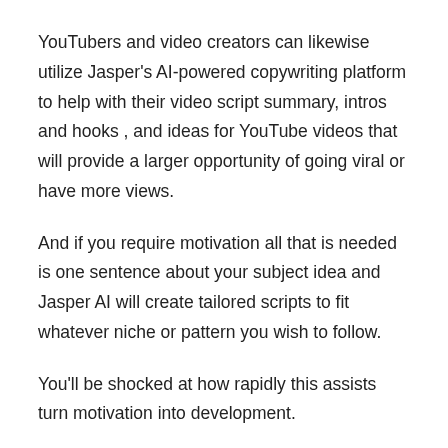YouTubers and video creators can likewise utilize Jasper's AI-powered copywriting platform to help with their video script summary, intros and hooks , and ideas for YouTube videos that will provide a larger opportunity of going viral or have more views.
And if you require motivation all that is needed is one sentence about your subject idea and Jasper AI will create tailored scripts to fit whatever niche or pattern you wish to follow.
You'll be shocked at how rapidly this assists turn motivation into development.
#8. Paid marketers and funnel